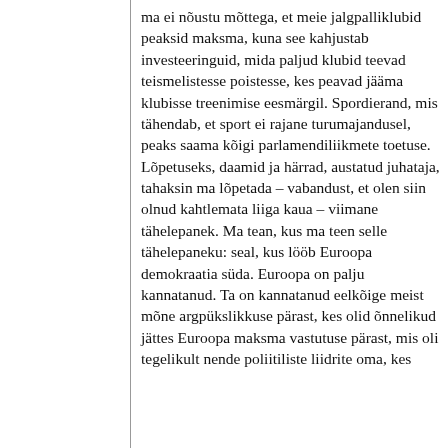ma ei nõustu mõttega, et meie jalgpalliklubid peaksid maksma, kuna see kahjustab investeeringuid, mida paljud klubid teevad teismelistesse poistesse, kes peavad jääma klubisse treenimise eesmärgil. Spordierand, mis tähendab, et sport ei rajane turumajandusel, peaks saama kõigi parlamendiliikmete toetuse. Lõpetuseks, daamid ja härrad, austatud juhataja, tahaksin ma lõpetada – vabandust, et olen siin olnud kahtlemata liiga kaua – viimane tähelepanek. Ma tean, kus ma teen selle tähelepaneku: seal, kus lööb Euroopa demokraatia süda. Euroopa on palju kannatanud. Ta on kannatanud eelkõige meist mõne argpükslikkuse pärast, kes olid õnnelikud jättes Euroopa maksma vastutuse pärast, mis oli tegelikult nende poliitiliste liidrite oma, kes